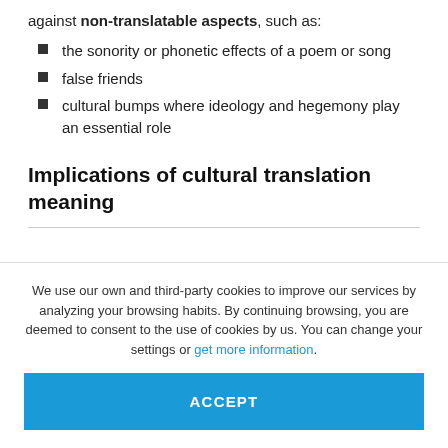against non-translatable aspects, such as:
the sonority or phonetic effects of a poem or song
false friends
cultural bumps where ideology and hegemony play an essential role
Implications of cultural translation meaning
We use our own and third-party cookies to improve our services by analyzing your browsing habits. By continuing browsing, you are deemed to consent to the use of cookies by us. You can change your settings or get more information.
ACCEPT